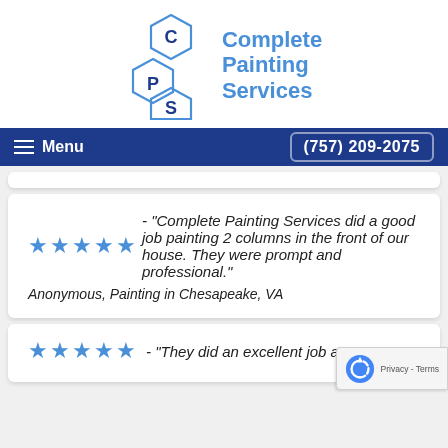[Figure (logo): Complete Painting Services logo with hexagonal C, P, S icons and blue text]
Menu  (757) 209-2075
★★★★★ - "Complete Painting Services did a good job painting 2 columns in the front of our house. They were prompt and professional."

Anonymous, Painting in Chesapeake, VA
★★★★★ - "They did an excellent job at a grea...